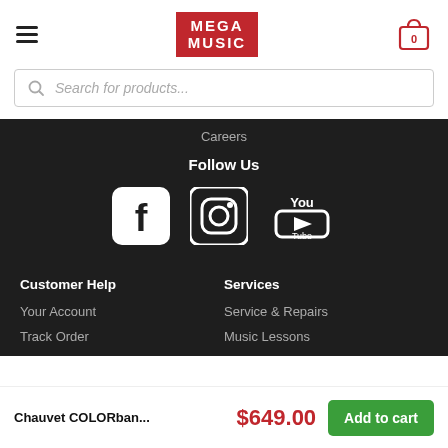[Figure (logo): Mega Music logo — red background with white text reading MEGA MUSIC]
Search for products...
Careers
Follow Us
[Figure (illustration): Social media icons: Facebook, Instagram, YouTube (white on dark background)]
Customer Help
Services
Your Account
Track Order
Service & Repairs
Music Lessons
Chauvet COLORban...
$649.00
Add to cart